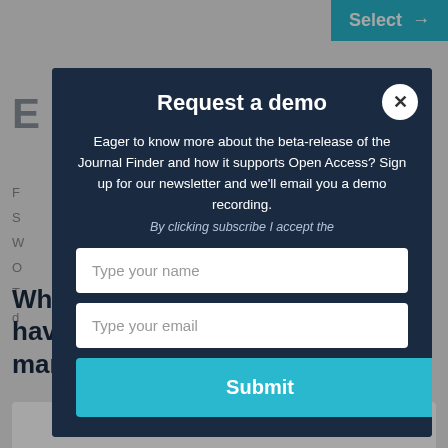[Figure (screenshot): Select button in top-right corner with cyan background]
Request a demo
Eager to know more about the beta-release of the Journal Finder and how it supports Open Access? Sign up for our newsletter and we'll email you a demo recording.
By clicking subscribe I accept the
Type your name
Type your email
Submit
Which options do I have for my manuscript?